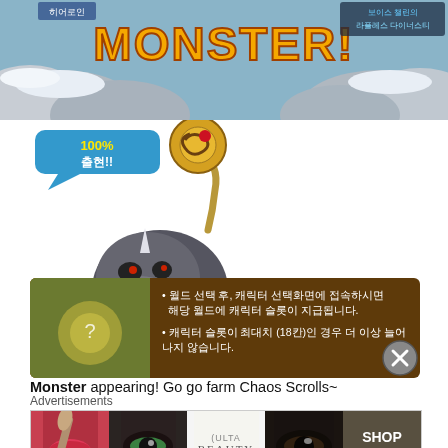[Figure (screenshot): Top banner from a Korean MapleStory game page showing 'MONSTER!' text in orange on a snowy rocky background]
[Figure (illustration): Cartoon rhino boss monster character with gold key, chains, red scarf, wearing a crown ornament. Speech bubble says '100% 출현!!']
Next up, every Monster Park run will result in a Special Monster appearing! Go go farm Chaos Scrolls~
[Figure (screenshot): Brown advertisement banner in Korean with bullet points about world selection and character slot information. Close button (X) at bottom right.]
Advertisements
[Figure (screenshot): Ulta Beauty advertisement banner showing makeup imagery with lips, brushes, eyes and SHOP NOW call to action]